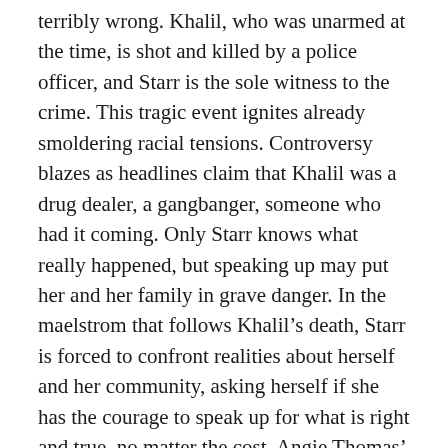terribly wrong. Khalil, who was unarmed at the time, is shot and killed by a police officer, and Starr is the sole witness to the crime. This tragic event ignites already smoldering racial tensions. Controversy blazes as headlines claim that Khalil was a drug dealer, a gangbanger, someone who had it coming. Only Starr knows what really happened, but speaking up may put her and her family in grave danger. In the maelstrom that follows Khalil’s death, Starr is forced to confront realities about herself and her community, asking herself if she has the courage to speak up for what is right and true, no matter the cost. Angie Thomas’ debut novel exquisitely captures the complexities of race, friendship, and family, promoting understanding and fueling discussion about police brutality, racism, and the Black Lives Matter movement.